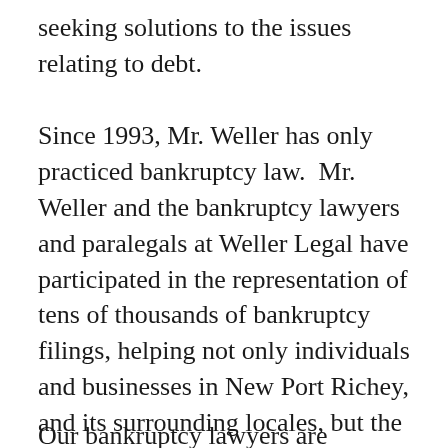seeking solutions to the issues relating to debt.
Since 1993, Mr. Weller has only practiced bankruptcy law.  Mr. Weller and the bankruptcy lawyers and paralegals at Weller Legal have participated in the representation of tens of thousands of bankruptcy filings, helping not only individuals and businesses in New Port Richey, and its surrounding locales, but the greater Tampa Bay region.  Weller Legal Group has offices in New Port Richey, Clearwater, Lakeland and Brandon, Florida.
Our bankruptcy lawyers are committed